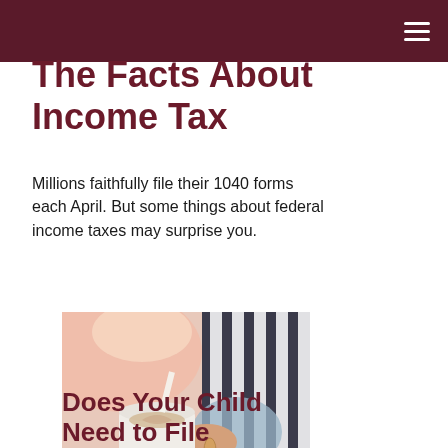The Facts About Income Tax
Millions faithfully file their 1040 forms each April. But some things about federal income taxes may surprise you.
[Figure (photo): A person pouring steamed milk into a coffee cup to create latte art, wearing a striped apron.]
Does Your Child Need to File